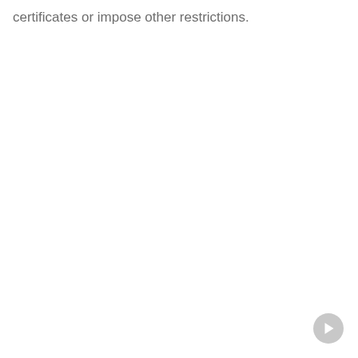certificates or impose other restrictions.